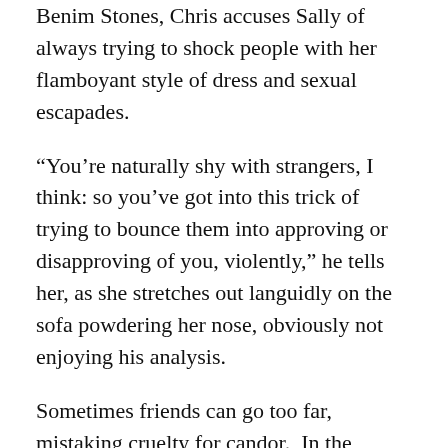Benim Stones, Chris accuses Sally of always trying to shock people with her flamboyant style of dress and sexual escapades.
“You’re naturally shy with strangers, I think: so you’ve got into this trick of trying to bounce them into approving or disapproving of you, violently,” he tells her, as she stretches out languidly on the sofa powdering her nose, obviously not enjoying his analysis.
Sometimes friends can go too far, mistaking cruelty for candor.  In the movie Margo at the Wedding, Margo-played skillfully by a dressed-down, almost mousy-looking Nicole Kidman-ambushes her sister and her own son with endless debilitating insights and observations in the name of “being honest.” Her unchecked behavior points out that we don’t